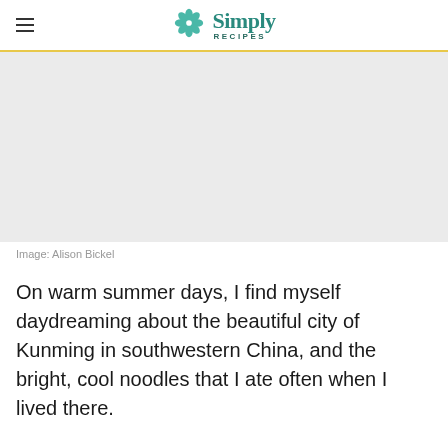Simply Recipes
[Figure (photo): Placeholder food photograph (light gray background), credited to Alison Bickel]
Image: Alison Bickel
On warm summer days, I find myself daydreaming about the beautiful city of Kunming in southwestern China, and the bright, cool noodles that I ate often when I lived there.